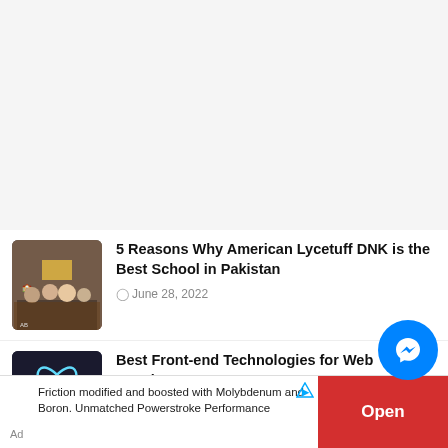[Figure (other): White/light gray advertisement banner placeholder at top of page]
5 Reasons Why American Lycetuff DNK is the Best School in Pakistan
June 28, 2022
Best Front-end Technologies for Web Development
June 16, 2022
Friction modified and boosted with Molybdenum and Boron. Unmatched Powerstroke Performance
Open
[Figure (other): Messenger chat button (blue circle with lightning bolt icon)]